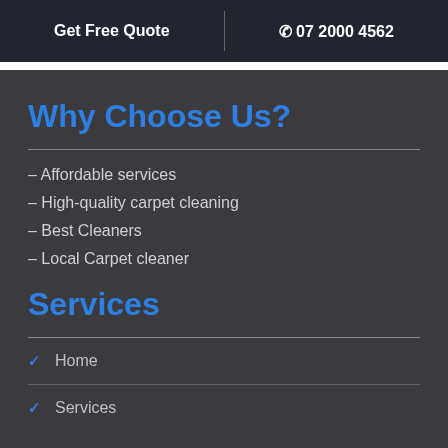Get Free Quote | 07 2000 4562
Why Choose Us?
– Affordable services
– High-quality carpet cleaning
– Best Cleaners
– Local Carpet cleaner
Services
Home
Services